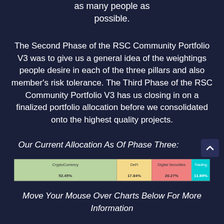as many people as possible.
The Second Phase of the RSC Community Portfolio V3 was to give us a general idea of the weightings people desire in each of the three pillars and also member’s risk tolerance. The Third Phase of the RSC Community Portfolio V3 has us closing in on a finalized portfolio allocation before we consolidated onto the highest quality projects.
Our Current Allocation As Of Phase Three:
[Figure (stacked-bar-chart): Current Allocation As Of Phase Three]
Move Your Mouse Over Charts Below For More Information